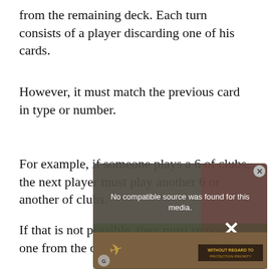from the remaining deck. Each turn consists of a player discarding one of his cards.
However, it must match the previous card in type or number.
For example, if someone plays a 6 of clubs, the next player must play another 6 or another of clubs.
If that is not possible, they must remove one from the draw pile.
[Figure (screenshot): Video player overlay showing 'No compatible source was found for this media.' message with a close button (x) and an advertisement banner below showing a plane and text 'WITHOUT REGARD TO']